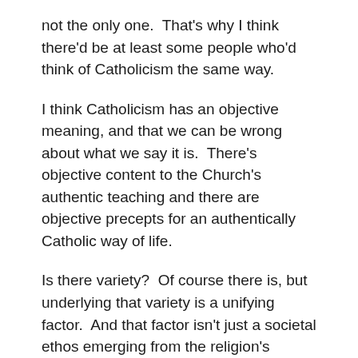not the only one.  That's why I think there'd be at least some people who'd think of Catholicism the same way.
I think Catholicism has an objective meaning, and that we can be wrong about what we say it is.  There's objective content to the Church's authentic teaching and there are objective precepts for an authentically Catholic way of life.
Is there variety?  Of course there is, but underlying that variety is a unifying factor.  And that factor isn't just a societal ethos emerging from the religion's infinite adaptability, but instead, a certain way of seeing the world.
So, as I said, I do think some of these hundred people, if we could enter into their thoughts, would probably see Catholicism more or less the same